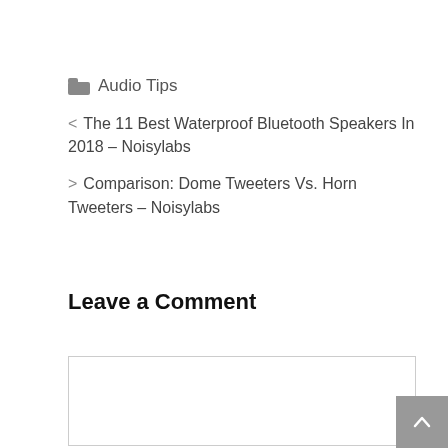🗂 Audio Tips
< The 11 Best Waterproof Bluetooth Speakers In 2018 – Noisylabs
> Comparison: Dome Tweeters Vs. Horn Tweeters – Noisylabs
Leave a Comment
[Figure (other): Text input comment box (empty textarea with border)]